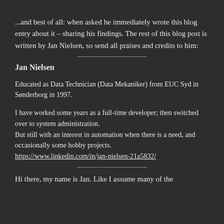...and best of all: when asked he immediately wrote this blog entry about it – sharing his findings. The rest of this blog post is written by Jan Nielsen, so send all praises and credits to him:
Jan Nielsen
Educated as Data Technician (Data Mekaniker) from EUC Syd in Sønderborg in 1997.
I have worked some years as a full-time developer; then switched over to system administration.
But still with an interest in automation when there is a need, and occasionally some hobby projects.
https://www.linkedin.com/in/jan-nielsen-21a5832/
Hi there, my name is Jan. Like I assume many of the